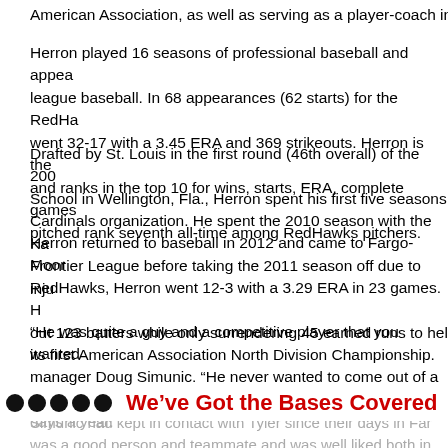American Association, as well as serving as a player-coach in
Herron played 16 seasons of professional baseball and appea league baseball. In 68 appearances (62 starts) for the RedHa went 32-17 with a 3.45 ERA and 369 strikeouts. Herron is the and ranks in the top 10 for wins, starts, ERA, complete games pitched rank seventh all-time among RedHawks pitchers.
Drafted by St. Louis in the first round (46th overall) of the 200 School in Wellington, Fla., Herron spent his first five seasons Cardinals organization. He spent the 2010 season with the Ka Frontier League before taking the 2011 season off due to inju
Herron returned to baseball in 2012 and came to Fargo-Moor RedHawks, Herron went 12-3 with a 3.29 ERA in 23 games. H out 123 batters while only surrendering 45 earned runs to hel its first American Association North Division Championship.
“He was quite a guy and a competitive player that you wanted manager Doug Simunic. “He never wanted to come out of a g days a year.”
We’ve Got the Bases Covered
Simunic had kept in contact with Tyler since their days in Far was a good person and teammate and was well liked both in